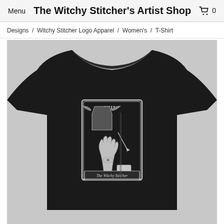Menu | The Witchy Stitcher's Artist Shop | 0
Designs / Witchy Stitcher Logo Apparel / Women's / T-Shirt
[Figure (photo): A black women's t-shirt displayed on a model, featuring a gothic tarot card design with 'The Witchy Stitcher' text, showing a skeletal hand holding a needle with a coffin and bats motif, labeled XIII.]